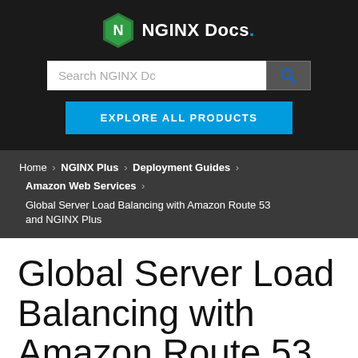[Figure (logo): NGINX Docs logo with green shield icon and white text 'NGINX Docs.']
[Figure (screenshot): Search bar reading 'Search NGINX Dc' with a search button icon and 'EXPLORE ALL PRODUCTS' blue button]
Home > NGINX Plus > Deployment Guides > Amazon Web Services > Global Server Load Balancing with Amazon Route 53 and NGINX Plus
Global Server Load Balancing with Amazon Route 53 and NGINX